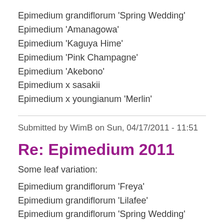Epimedium grandiflorum 'Spring Wedding'
Epimedium 'Amanagowa'
Epimedium 'Kaguya Hime'
Epimedium 'Pink Champagne'
Epimedium 'Akebono'
Epimedium x sasakii
Epimedium x youngianum 'Merlin'
Submitted by WimB on Sun, 04/17/2011 - 11:51
Re: Epimedium 2011
Some leaf variation:
Epimedium grandiflorum 'Freya'
Epimedium grandiflorum 'Lilafee'
Epimedium grandiflorum 'Spring Wedding'
Epimedium 'Pink Champagne'
Epimedium 'Spine Tingler'
Epimedium x versicolor 'Cherry Tart'